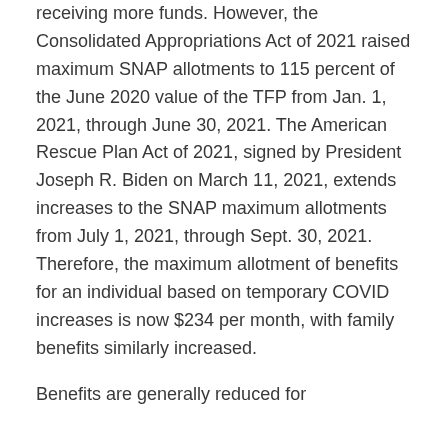receiving more funds. However, the Consolidated Appropriations Act of 2021 raised maximum SNAP allotments to 115 percent of the June 2020 value of the TFP from Jan. 1, 2021, through June 30, 2021. The American Rescue Plan Act of 2021, signed by President Joseph R. Biden on March 11, 2021, extends increases to the SNAP maximum allotments from July 1, 2021, through Sept. 30, 2021. Therefore, the maximum allotment of benefits for an individual based on temporary COVID increases is now $234 per month, with family benefits similarly increased.
Benefits are generally reduced for